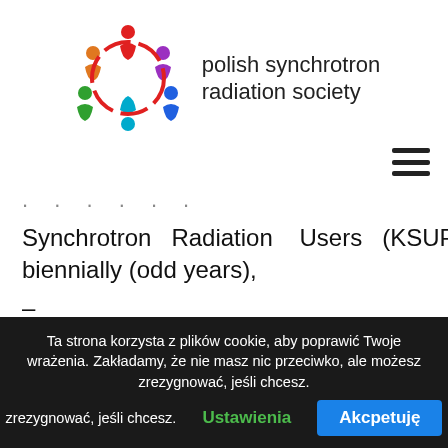[Figure (logo): Polish Synchrotron Radiation Society logo: colorful circular figure made of people silhouettes and text 'polish synchrotron radiation society']
Synchrotron Radiation Users (KSUPS) biennially (odd years),
– providing Polish representation in international bodies,
– easing access of Polish scientists to large world scientific infrastructure (synchrotrons
Ta strona korzysta z plików cookie, aby poprawić Twoje wrażenia. Zakładamy, że nie masz nic przeciwko, ale możesz zrezygnować, jeśli chcesz. Ustawienia Akcpetuję